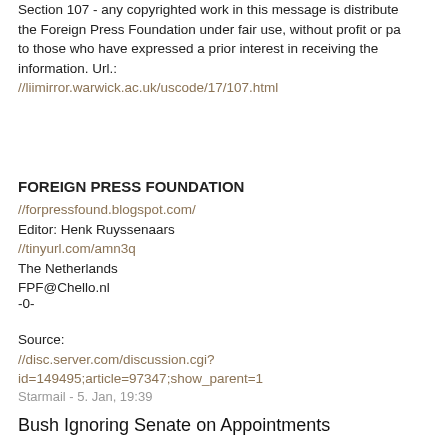Section 107 - any copyrighted work in this message is distributed by the Foreign Press Foundation under fair use, without profit or payment to those who have expressed a prior interest in receiving the information. Url.: //liimirror.warwick.ac.uk/uscode/17/107.html
FOREIGN PRESS FOUNDATION
//forpressfound.blogspot.com/
Editor: Henk Ruyssenaars
//tinyurl.com/amn3q
The Netherlands
FPF@Chello.nl
-0-
Source:
//disc.server.com/discussion.cgi?id=149495;article=97347;show_parent=1
Starmail - 5. Jan, 19:39
Bush Ignoring Senate on Appointments
Since the Senate held a pro forma session Tuesday and then adjourned, the White House contends the second session of the Congress has begun and Bush's recess appointments are valid until the following session concludes at the end of 2007.
//www.truthout.org/docs_2006/010506K.shtml